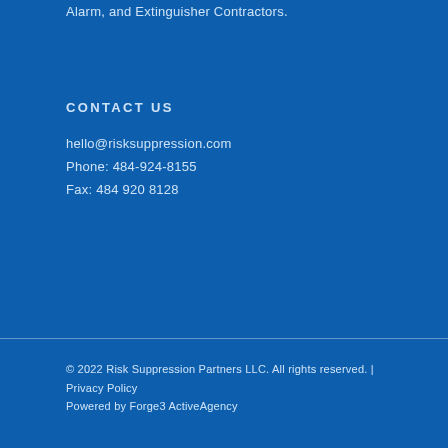Alarm, and Extinguisher Contractors.
CONTACT US
hello@risksuppression.com
Phone: 484-924-8155
Fax: 484 920 8128
© 2022 Risk Suppression Partners LLC. All rights reserved. | Privacy Policy
Powered by Forge3 ActiveAgency